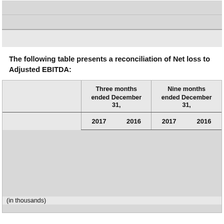|  |
|  |
|  |
The following table presents a reconciliation of Net loss to Adjusted EBITDA:
|  | Three months ended December 31, 2017 | Three months ended December 31, 2016 | Nine months ended December 31, 2017 | Nine months ended December 31, 2016 |
| --- | --- | --- | --- | --- |
|  |  |  |  |  |
| (in thousands) |  |  |  |  |